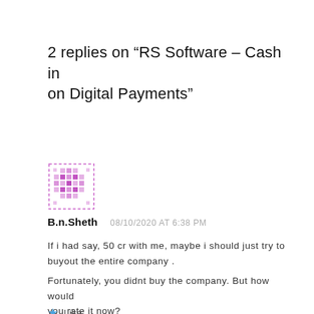2 replies on “RS Software – Cash in on Digital Payments”
[Figure (illustration): Purple pixelated avatar icon for user B.n.Sheth]
B.n.Sheth   08/10/2020 AT 6:38 PM
If i had say, 50 cr with me, maybe i should just try to buyout the entire company .
Fortunately, you didnt buy the company. But how would you rate it now?
★ Like